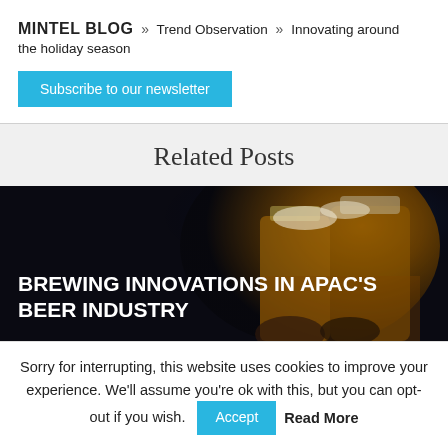MINTEL BLOG » Trend Observation » Innovating around the holiday season
Subscribe to our newsletter
Related Posts
[Figure (photo): Blog card image with beer glasses being clinked, dark background, with overlay text: BREWING INNOVATIONS IN APAC'S BEER INDUSTRY]
Sorry for interrupting, this website uses cookies to improve your experience. We'll assume you're ok with this, but you can opt-out if you wish. Accept  Read More